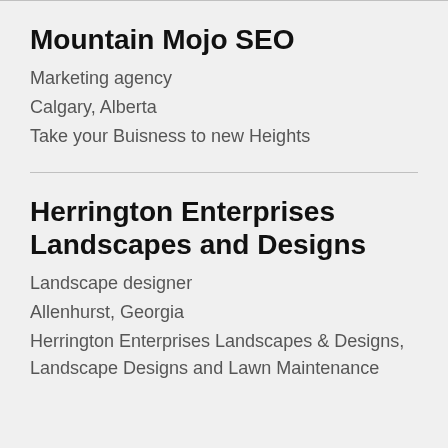Mountain Mojo SEO
Marketing agency
Calgary, Alberta
Take your Buisness to new Heights
Herrington Enterprises Landscapes and Designs
Landscape designer
Allenhurst, Georgia
Herrington Enterprises Landscapes & Designs, Landscape Designs and Lawn Maintenance